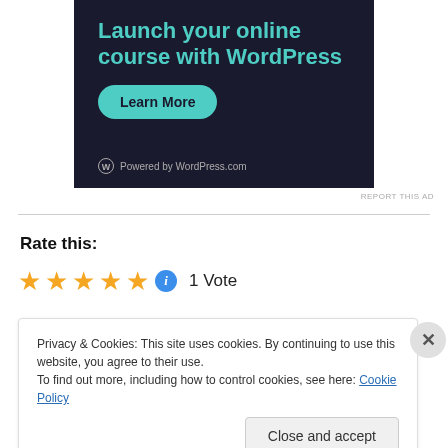[Figure (illustration): Dark navy advertisement banner for WordPress online course with teal colored title text 'Launch your online course with WordPress', a teal 'Learn More' button, and 'Powered by WordPress.com' footer with WordPress logo]
REPORT THIS AD
Rate this:
5 stars, 1 Vote
Privacy & Cookies: This site uses cookies. By continuing to use this website, you agree to their use.
To find out more, including how to control cookies, see here: Cookie Policy
Close and accept